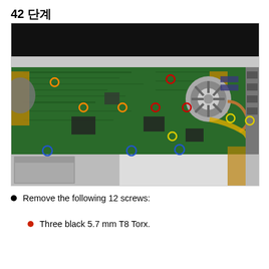42 단계
[Figure (photo): Internal view of a laptop motherboard (MacBook Pro) with screws highlighted by colored circles: orange circles marking some screws, red circles marking others, yellow circles, and blue circles. A cooling fan is visible on the right side. Flexible ribbon cables and heatsink copper pipes are also visible. The laptop screen bezel is visible at the top.]
Remove the following 12 screws:
Three black 5.7 mm T8 Torx.